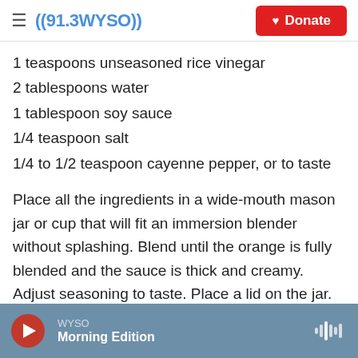≡ ((91.3 WYSO)) Donate
1 teaspoons unseasoned rice vinegar
2 tablespoons water
1 tablespoon soy sauce
1/4 teaspoon salt
1/4 to 1/2 teaspoon cayenne pepper, or to taste
Place all the ingredients in a wide-mouth mason jar or cup that will fit an immersion blender without splashing. Blend until the orange is fully blended and the sauce is thick and creamy. Adjust seasoning to taste. Place a lid on the jar. Allow the flavors to develop for one hour or more in the refrigerator. The dressing will keep for about a
WYSO Morning Edition